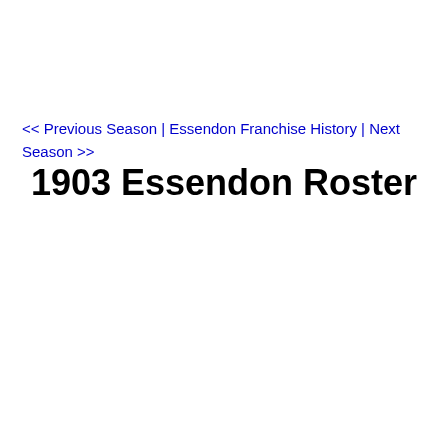<< Previous Season | Essendon Franchise History | Next Season >>
1903 Essendon Roster